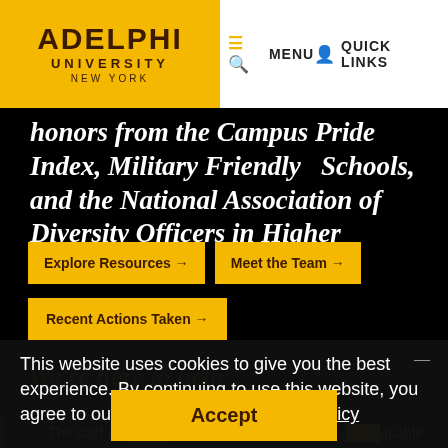Adelphi University New York | MENU | QUICK LINKS
honors from the Campus Pride Index, Military Friendly Schools, and the National Association of Diversity Officers in Higher Education.
Explore Resources →
Meet the Team →
Recent Actions Taken →
This website uses cookies to give you the best experience. By continuing to use this website, you agree to our use of cookies. Privacy Policy
We're here to help
Accept
The staff of [Diversity, Equity, Inclusion a...] available to answer your questions, listen to your concerns and direct...